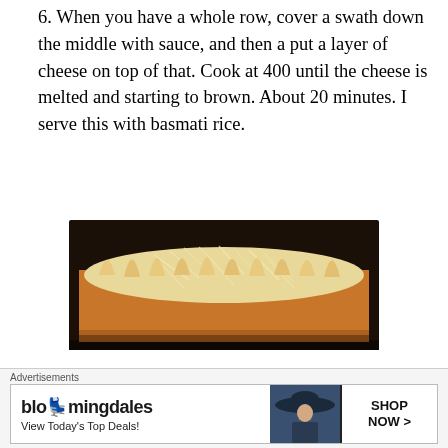6. When you have a whole row, cover a swath down the middle with sauce, and then a put a layer of cheese on top of that. Cook at 400 until the cheese is melted and starting to brown. About 20 minutes. I serve this with basmati rice.
[Figure (photo): Photo of enchiladas in a baking dish covered with melted shredded cheese, arranged in a row]
NOTE: I usually like to cook with cumin when I cook with black beans. I didn't this time, but you could, and it would taste very good. You could also add corn, to add some bright sweetness to the dish.
Advertisements
[Figure (screenshot): Bloomingdale's advertisement banner: 'bloomingdales - View Today's Top Deals!' with a woman wearing a wide-brim hat and a SHOP NOW > button]